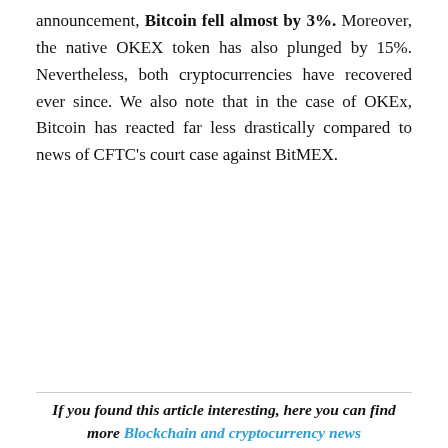announcement, Bitcoin fell almost by 3%. Moreover, the native OKEX token has also plunged by 15%. Nevertheless, both cryptocurrencies have recovered ever since. We also note that in the case of OKEx, Bitcoin has reacted far less drastically compared to news of CFTC's court case against BitMEX.
If you found this article interesting, here you can find more Blockchain and cryptocurrency news
TAGS  Cryptocurrency Exchange  OKEx  security
We use cookies to ensure that we give you the best experience on our website. If you continue to use this site we will assume that you are happy with it.
Ok  Privacy policy